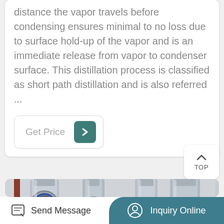distance the vapor travels before condensing ensures minimal to no loss due to surface hold-up of the vapor and is an immediate release from vapor to condenser surface. This distillation process is classified as short path distillation and is also referred ...
Get Price
[Figure (photo): Industrial stainless steel short path distillation equipment with cylindrical columns and clamp fittings]
Send Message
Inquiry Online